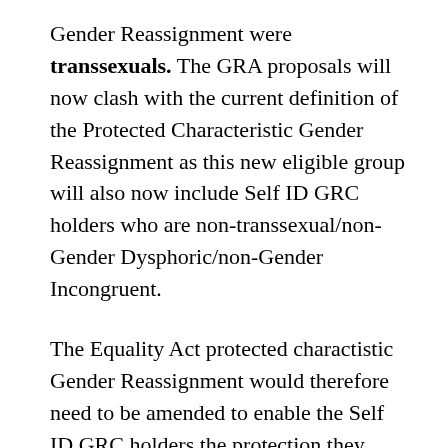Gender Reassignment were transsexuals. The GRA proposals will now clash with the current definition of the Protected Characteristic Gender Reassignment as this new eligible group will also now include Self ID GRC holders who are non-transsexual/non-Gender Dysphoric/non-Gender Incongruent.
The Equality Act protected charactistic Gender Reassignment would therefore need to be amended to enable the Self ID GRC holders the protection they require. However, the Equality Act is a reserved matter so the Scottish Government don't have the legislative power to make such amendments, and the UK Government have already announced they won't